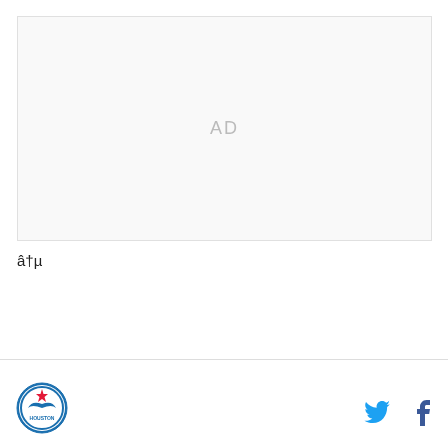[Figure (other): Advertisement placeholder box with 'AD' label in gray]
â†µ
[Figure (logo): Houston Rockets circular logo with star and bird emblem]
[Figure (other): Twitter bird icon in blue]
[Figure (other): Facebook 'f' icon in blue]